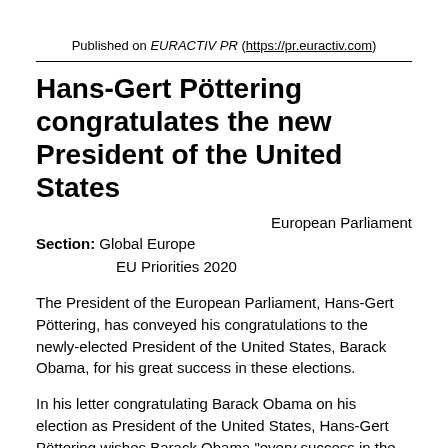Published on EURACTIV PR (https://pr.euractiv.com)
Hans-Gert Pöttering congratulates the new President of the United States
European Parliament
Section: Global Europe
EU Priorities 2020
The President of the European Parliament, Hans-Gert Pöttering, has conveyed his congratulations to the newly-elected President of the United States, Barack Obama, for his great success in these elections.
In his letter congratulating Barack Obama on his election as President of the United States, Hans-Gert Pöttering wishes Barack Obama "every success in the challenging